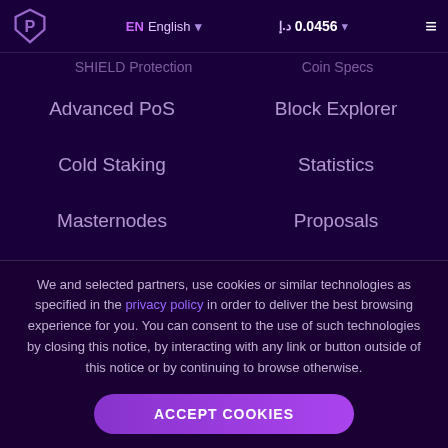Get PIV | EN English | د.إ 0.0456 | Wallets
SHIELD Protection
Coin Specs
Advanced PoS
Block Explorer
Cold Staking
Statistics
Masternodes
Proposals
Governance
News
We and selected partners, use cookies or similar technologies as specified in the privacy policy in order to deliver the best browsing experience for you. You can consent to the use of such technologies by closing this notice, by interacting with any link or button outside of this notice or by continuing to browse otherwise.
ACCEPT COOKIES